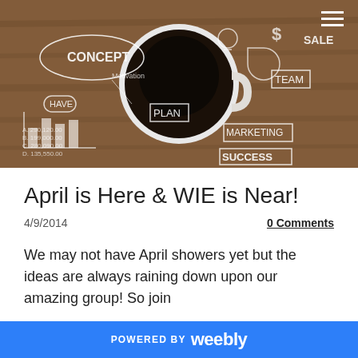[Figure (photo): Overhead view of a coffee cup on a wooden table with business/planning chalk-art drawings including words like CONCEPT, PLAN, TEAM, MARKETING, SUCCESS, SALE scattered around it with diagrams and doodles]
April is Here & WIE is Near!
4/9/2014
0 Comments
We may not have April showers yet but the ideas are always raining down upon our amazing group! So join
POWERED BY weebly